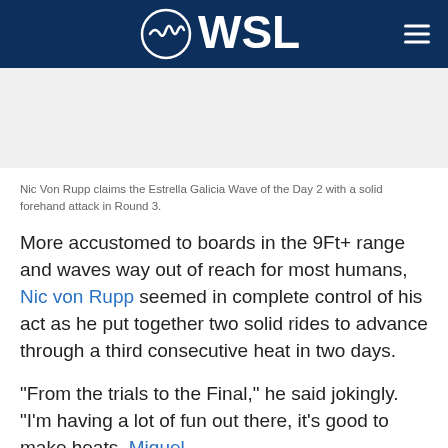WSL
[Figure (photo): Image placeholder area showing Nic Von Rupp surfing]
Nic Von Rupp claims the Estrella Galicia Wave of the Day 2 with a solid forehand attack in Round 3.
More accustomed to boards in the 9Ft+ range and waves way out of reach for most humans, Nic von Rupp seemed in complete control of his act as he put together two solid rides to advance through a third consecutive heat in two days.
"From the trials to the Final," he said jokingly. "I'm having a lot of fun out there, it's good to make heats. Miguel